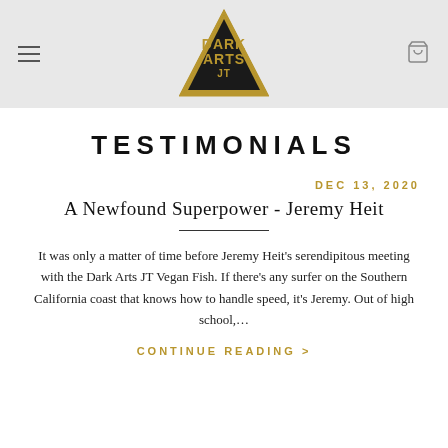Dark Arts JT logo header with navigation
TESTIMONIALS
DEC 13, 2020
A Newfound Superpower - Jeremy Heit
It was only a matter of time before Jeremy Heit's serendipitous meeting with the Dark Arts JT Vegan Fish. If there's any surfer on the Southern California coast that knows how to handle speed, it's Jeremy. Out of high school,...
CONTINUE READING >